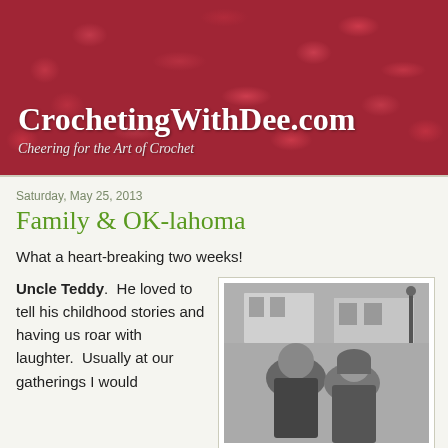CrochetingWithDee.com
Cheering for the Art of Crochet
Saturday, May 25, 2013
Family & OK-lahoma
What a heart-breaking two weeks!
Uncle Teddy.  He loved to tell his childhood stories and having us roar with laughter.  Usually at our gatherings I would
[Figure (photo): Black and white photo of two people (a man and a woman/child) posing together outside near a building]